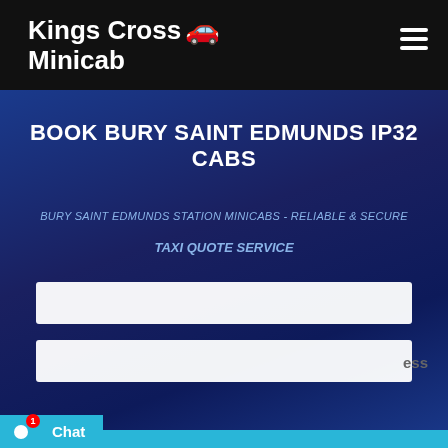Kings Cross Minicab
BOOK BURY SAINT EDMUNDS IP32 CABS
BURY SAINT EDMUNDS STATION MINICABS - RELIABLE & SECURE
TAXI QUOTE SERVICE
[Figure (screenshot): Chat popup widget showing: Hello there! Good Day! We have Hidden offers on most of our routes, interested to know what lies... Type input row with icons. chat now! enter]
ess
Chat